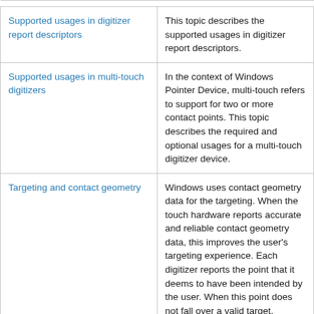| Topic | Description |
| --- | --- |
| Supported usages in digitizer report descriptors | This topic describes the supported usages in digitizer report descriptors. |
| Supported usages in multi-touch digitizers | In the context of Windows Pointer Device, multi-touch refers to support for two or more contact points. This topic describes the required and optional usages for a multi-touch digitizer device. |
| Targeting and contact geometry | Windows uses contact geometry data for the targeting. When the touch hardware reports accurate and reliable contact geometry data, this improves the user's targeting experience. Each digitizer reports the point that it deems to have been intended by the user. When this point does not fall over a valid target, Windows will look at any reported geometry data to identify the most probable target. |